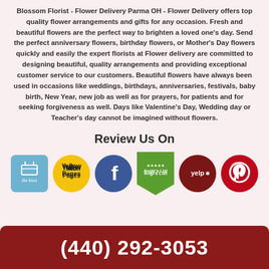Blossom Florist - Flower Delivery Parma OH - Flower Delivery offers top quality flower arrangements and gifts for any occasion. Fresh and beautiful flowers are the perfect way to brighten a loved one's day. Send the perfect anniversary flowers, birthday flowers, or Mother's Day flowers quickly and easily the expert florists at Flower delivery are committed to designing beautiful, quality arrangements and providing exceptional customer service to our customers. Beautiful flowers have always been used in occasions like weddings, birthdays, anniversaries, festivals, baby birth, New Year, new job as well as for prayers, for patients and for seeking forgiveness as well. Days like Valentine's Day, Wedding day or Teacher's day cannot be imagined without flowers.
Review Us On
[Figure (logo): Row of review platform logos: The Knot, Yellow Pages, Facebook, Angie's List, Yelp, Pinterest]
(440) 292-3053